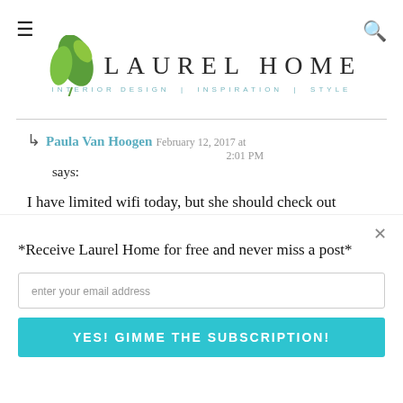LAUREL HOME — INTERIOR DESIGN | INSPIRATION | STYLE
Paula Van Hoogen February 12, 2017 at 2:01 PM says:
I have limited wifi today, but she should check out American Leather sleeper couches. They are said to be the most comfortable. Not cheap tho.
POWERED BY SUMO
*Receive Laurel Home for free and never miss a post*
enter your email address
YES! GIMME THE SUBSCRIPTION!